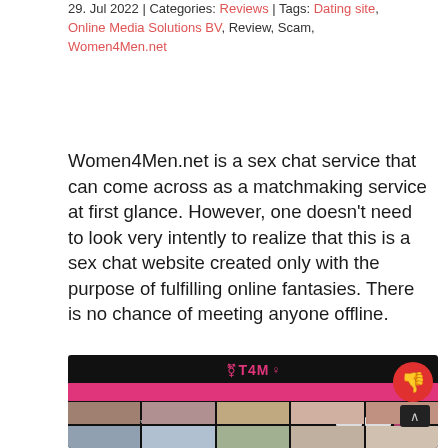29. Jul 2022 | Categories: Reviews | Tags: Dating site, Online Media Solutions BV, Review, Scam, Women4Men.net
Women4Men.net is a sex chat service that can come across as a matchmaking service at first glance. However, one doesn't need to look very intently to realize that this is a sex chat website created only with the purpose of fulfilling online fantasies. There is no chance of meeting anyone offline.
[Figure (screenshot): Screenshot of the Women4Men.net (T4M) dating/sex chat website showing the homepage with logo, pink navigation bar, and a grid of blurred profile thumbnails. A red thumbs-down badge overlaps the top-right corner.]